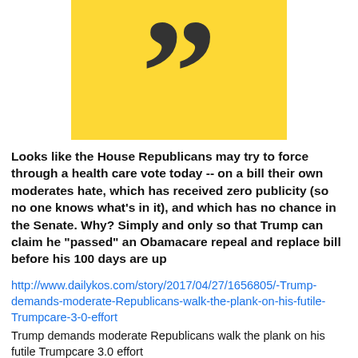[Figure (illustration): Large decorative quotation mark symbol (double close-quote) in dark charcoal color on a golden yellow background square]
Looks like the House Republicans may try to force through a health care vote today -- on a bill their own moderates hate, which has received zero publicity (so no one knows what's in it), and which has no chance in the Senate. Why? Simply and only so that Trump can claim he "passed" an Obamacare repeal and replace bill before his 100 days are up
http://www.dailykos.com/story/2017/04/27/1656805/-Trump-demands-moderate-Republicans-walk-the-plank-on-his-futile-Trumpcare-3-0-effort
Trump demands moderate Republicans walk the plank on his futile Trumpcare 3.0 effort